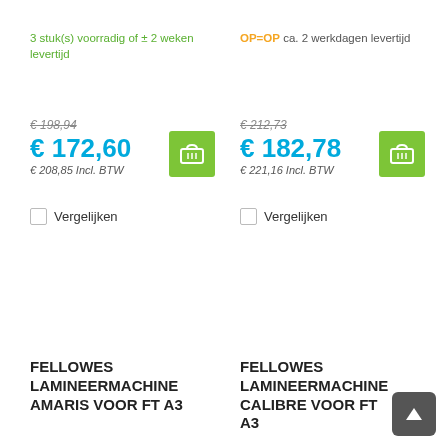3 stuk(s) voorradig of ± 2 weken levertijd
OP=OP ca. 2 werkdagen levertijd
€ 198,94
€ 172,60
€ 208,85 Incl. BTW
€ 212,73
€ 182,78
€ 221,16 Incl. BTW
Vergelijken
Vergelijken
FELLOWES LAMINEERMACHINE AMARIS VOOR FT A3
FELLOWES LAMINEERMACHINE CALIBRE VOOR FT A3